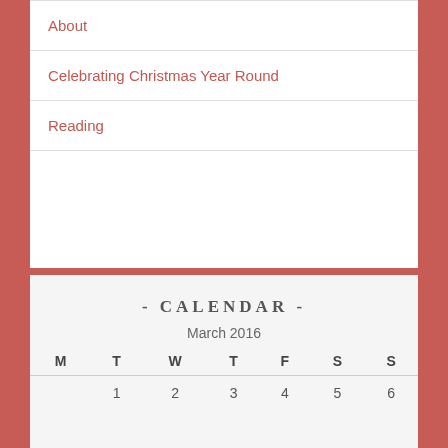About
Celebrating Christmas Year Round
Reading
- CALENDAR -
March 2016
| M | T | W | T | F | S | S |
| --- | --- | --- | --- | --- | --- | --- |
|  | 1 | 2 | 3 | 4 | 5 | 6 |